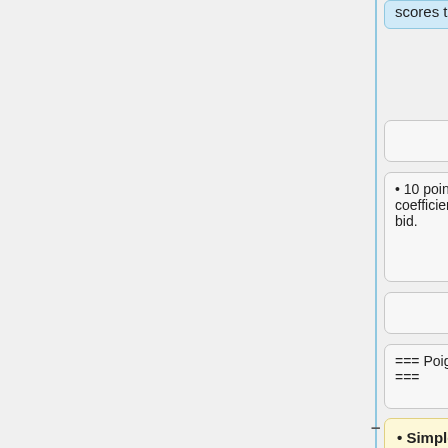scores the Petit au bout bonus:
• 10 points x coefficient of the bid.
• 10 points x coefficient of the bid.
=== Poignées ===
=== Poignées ===
• Simple Poignée, 13 Trumps with three players, 10 Trumps with four players, 8 Trumps with five players, 20 points